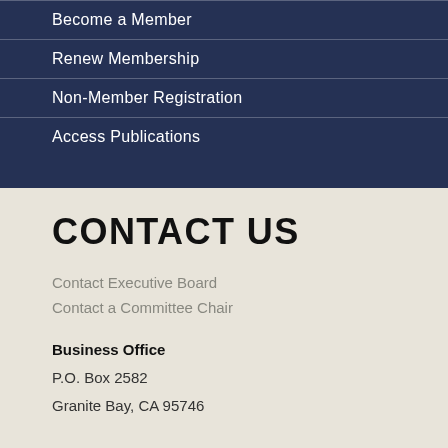Become a Member
Renew Membership
Non-Member Registration
Access Publications
CONTACT US
Contact Executive Board
Contact a Committee Chair
Business Office
P.O. Box 2582
Granite Bay, CA 95746